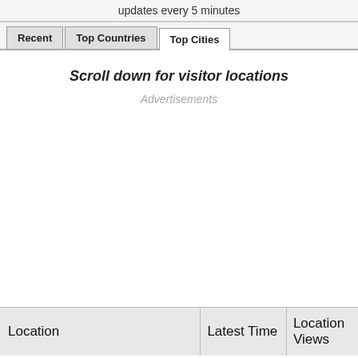updates every 5 minutes
Recent | Top Countries | Top Cities
Scroll down for visitor locations
Advertisements
| Location | Latest Time | Location Views |
| --- | --- | --- |